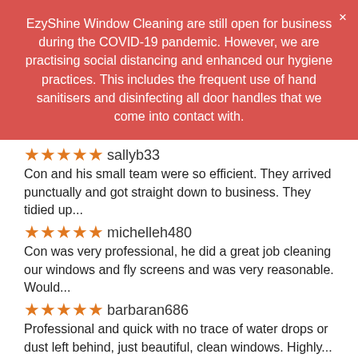EzyShine Window Cleaning are still open for business during the COVID-19 pandemic. However, we are practising social distancing and enhanced our hygiene practices. This includes the frequent use of hand sanitisers and disinfecting all door handles that we come into contact with.
★★★★★ sallyb33
Con and his small team were so efficient. They arrived punctually and got straight down to business. They tidied up...
★★★★★ michelleh480
Con was very professional, he did a great job cleaning our windows and fly screens and was very reasonable. Would...
★★★★★ barbaran686
Professional and quick with no trace of water drops or dust left behind, just beautiful, clean windows. Highly...
★★★★★ alant172